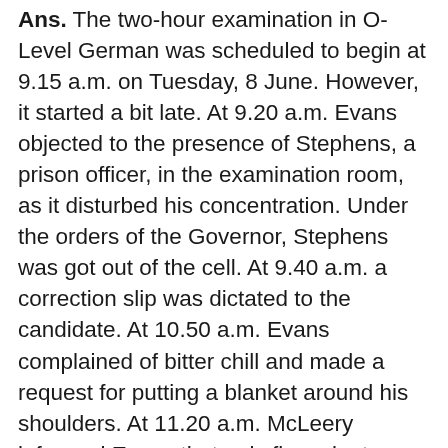Ans. The two-hour examination in O-Level German was scheduled to begin at 9.15 a.m. on Tuesday, 8 June. However, it started a bit late. At 9.20 a.m. Evans objected to the presence of Stephens, a prison officer, in the examination room, as it disturbed his concentration. Under the orders of the Governor, Stephens was got out of the cell. At 9.40 a.m. a correction slip was dictated to the candidate. At 10.50 a.m. Evans complained of bitter chill and made a request for putting a blanket around his shoulders. At 11.20 a.m. McLeery informed Evans that only five minutes remained. At 11.22 a.m. Jackson called Stephens to the phone. The Governor was on line. Stephens was given orders to escort McLeery to the main prison gates. The examination was